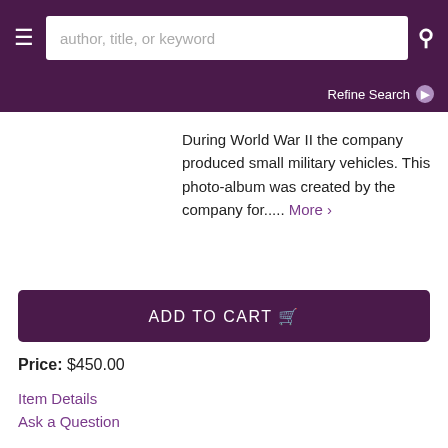≡  author, title, or keyword  🔍
Refine Search ❯
During World War II the company produced small military vehicles. This photo-album was created by the company for..... More ›
ADD TO CART 🛒
Price: $450.00
Item Details
Ask a Question
Baumgarten, Lothar
Sidetracks (Carbon Insert)